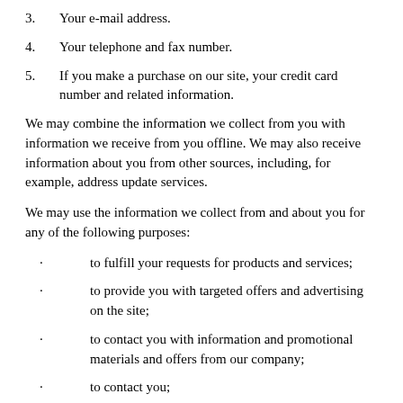3.    Your e-mail address.
4.    Your telephone and fax number.
5.    If you make a purchase on our site, your credit card number and related information.
We may combine the information we collect from you with information we receive from you offline. We may also receive information about you from other sources, including, for example, address update services.
We may use the information we collect from and about you for any of the following purposes:
· to fulfill your requests for products and services;
· to provide you with targeted offers and advertising on the site;
· to contact you with information and promotional materials and offers from our company;
· to contact you;
· to review site usage and operations;